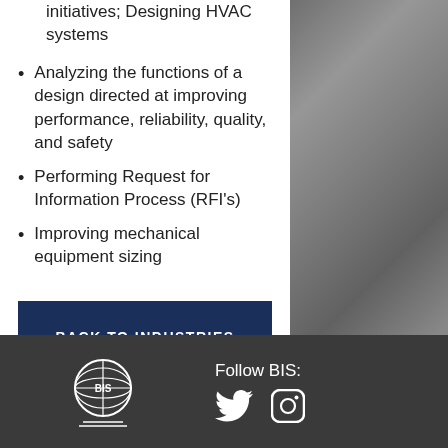initiatives; Designing HVAC systems
Analyzing the functions of a design directed at improving performance, reliability, quality, and safety
Performing Request for Information Process (RFI's)
Improving mechanical equipment sizing
BACK TO INDUSTRIES
[Figure (photo): Industrial/architectural photo showing structural steel beams and HVAC or mechanical equipment, partially visible on right side]
[Figure (logo): BIS company globe logo in white on dark footer background]
Follow BIS:
[Figure (illustration): Twitter bird icon (white) and Instagram camera icon (white) as social media links]